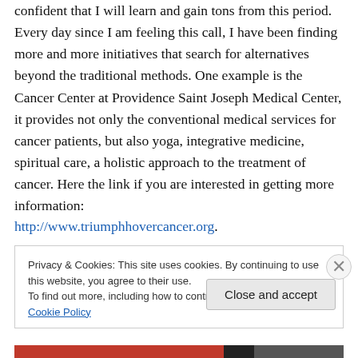confident that I will learn and gain tons from this period. Every day since I am feeling this call, I have been finding more and more initiatives that search for alternatives beyond the traditional methods. One example is the Cancer Center at Providence Saint Joseph Medical Center, it provides not only the conventional medical services for cancer patients, but also yoga, integrative medicine, spiritual care, a holistic approach to the treatment of cancer. Here the link if you are interested in getting more information:
http://www.triumphnovercancer.org.
Privacy & Cookies: This site uses cookies. By continuing to use this website, you agree to their use.
To find out more, including how to control cookies, see here: Cookie Policy
Close and accept